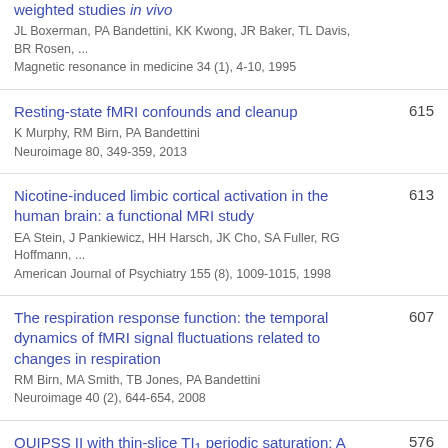weighted studies in vivo
JL Boxerman, PA Bandettini, KK Kwong, JR Baker, TL Davis, BR Rosen, ...
Magnetic resonance in medicine 34 (1), 4-10, 1995
Resting-state fMRI confounds and cleanup
K Murphy, RM Birn, PA Bandettini
Neuroimage 80, 349-359, 2013
615
Nicotine-induced limbic cortical activation in the human brain: a functional MRI study
EA Stein, J Pankiewicz, HH Harsch, JK Cho, SA Fuller, RG Hoffmann, ...
American Journal of Psychiatry 155 (8), 1009-1015, 1998
613
The respiration response function: the temporal dynamics of fMRI signal fluctuations related to changes in respiration
RM Birn, MA Smith, TB Jones, PA Bandettini
Neuroimage 40 (2), 644-654, 2008
607
QUIPSS II with thin-slice TI1 periodic saturation: A method for improving accuracy of quantitative
576